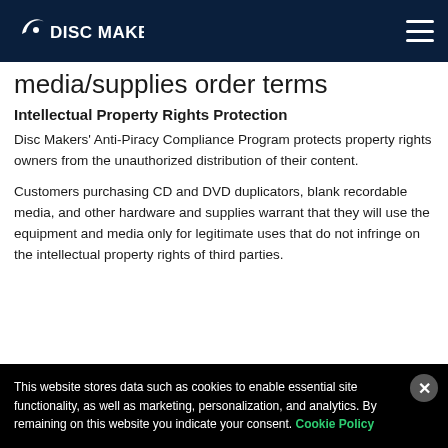DISC MAKERS
media/supplies order terms
Intellectual Property Rights Protection
Disc Makers' Anti-Piracy Compliance Program protects property rights owners from the unauthorized distribution of their content.
Customers purchasing CD and DVD duplicators, blank recordable media, and other hardware and supplies warrant that they will use the equipment and media only for legitimate uses that do not infringe on the intellectual property rights of third parties.
This website stores data such as cookies to enable essential site functionality, as well as marketing, personalization, and analytics. By remaining on this website you indicate your consent. Cookie Policy